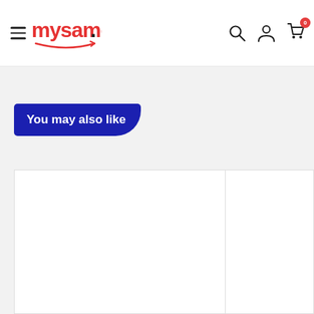mysamoa. navigation header with hamburger menu, search, account, and cart icons
You may also like
[Figure (other): Two product card placeholders (white rectangles) below the 'You may also like' section header on a gray background]